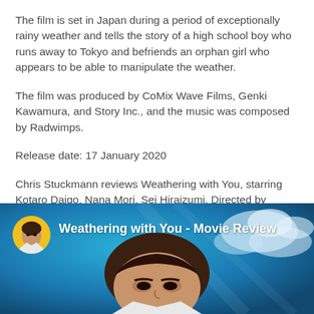The film is set in Japan during a period of exceptionally rainy weather and tells the story of a high school boy who runs away to Tokyo and befriends an orphan girl who appears to be able to manipulate the weather.
The film was produced by CoMix Wave Films, Genki Kawamura, and Story Inc., and the music was composed by Radwimps.
Release date: 17 January 2020
Chris Stuckmann reviews Weathering with You, starring Kotaro Daigo, Nana Mori, Sei Hiraizumi. Directed by Makoto Shinkai.
[Figure (screenshot): YouTube video thumbnail for 'Weathering with You - Movie Review' by Chris Stuckmann. Shows a man's face against a blue sky background with a yellow avatar circle in the top left and the review title in white text.]